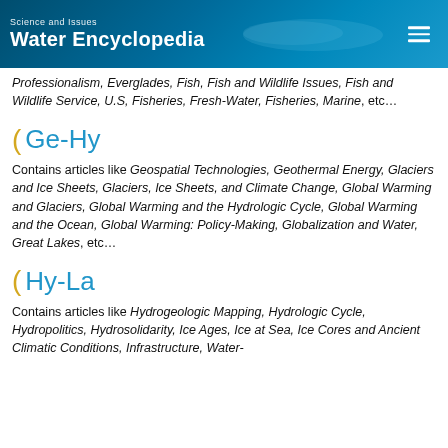Science and Issues Water Encyclopedia
Professionalism, Everglades, Fish, Fish and Wildlife Issues, Fish and Wildlife Service, U.S, Fisheries, Fresh-Water, Fisheries, Marine, etc&hellip;
Ge-Hy
Contains articles like Geospatial Technologies, Geothermal Energy, Glaciers and Ice Sheets, Glaciers, Ice Sheets, and Climate Change, Global Warming and Glaciers, Global Warming and the Hydrologic Cycle, Global Warming and the Ocean, Global Warming: Policy-Making, Globalization and Water, Great Lakes, etc&hellip;
Hy-La
Contains articles like Hydrogeologic Mapping, Hydrologic Cycle, Hydropolitics, Hydrosolidarity, Ice Ages, Ice at Sea, Ice Cores and Ancient Climatic Conditions, Infrastructure, Water-